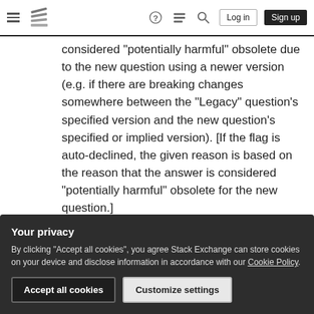Stack Exchange navigation bar with hamburger menu, logo, help, chat, search icons, Log in and Sign up buttons
considered "potentially harmful" obsolete due to the new question using a newer version (e.g. if there are breaking changes somewhere between the "Legacy" question's specified version and the new question's specified or implied version). [If the flag is auto-declined, the given reason is based on the reason that the answer is considered "potentially harmful" obsolete for the new question.]
Your privacy
By clicking "Accept all cookies", you agree Stack Exchange can store cookies on your device and disclose information in accordance with our Cookie Policy.
Accept all cookies   Customize settings
feature Foo , which is a very complex